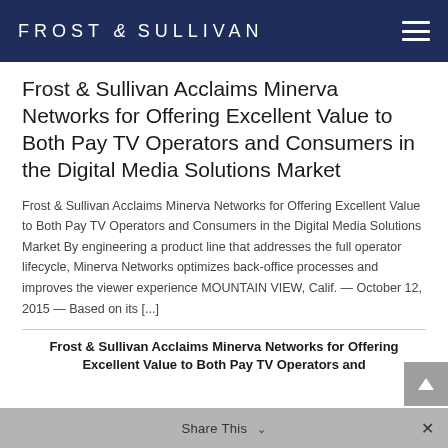FROST & SULLIVAN
Frost & Sullivan Acclaims Minerva Networks for Offering Excellent Value to Both Pay TV Operators and Consumers in the Digital Media Solutions Market
Frost & Sullivan Acclaims Minerva Networks for Offering Excellent Value to Both Pay TV Operators and Consumers in the Digital Media Solutions Market By engineering a product line that addresses the full operator lifecycle, Minerva Networks optimizes back-office processes and improves the viewer experience MOUNTAIN VIEW, Calif. — October 12, 2015 — Based on its [...]
Frost & Sullivan Acclaims Minerva Networks for Offering Excellent Value to Both Pay TV Operators and